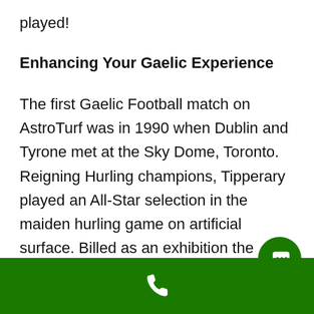played!
Enhancing Your Gaelic Experience
The first Gaelic Football match on AstroTurf was in 1990 when Dublin and Tyrone met at the Sky Dome, Toronto. Reigning Hurling champions, Tipperary played an All-Star selection in the maiden hurling game on artificial surface. Billed as an exhibition the games had a profound effect on Irish sport; all-weather pitches began to spring up around the Gaelic